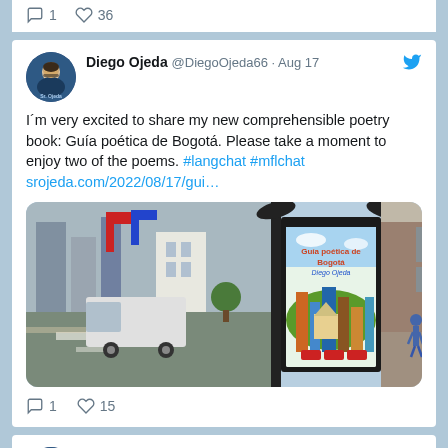1  36
Diego Ojeda @DiegoOjeda66 · Aug 17
I´m very excited to share my new comprehensible poetry book: Guía poética de Bogotá.  Please take a moment to enjoy two of the poems. #langchat #mflchat srojeda.com/2022/08/17/gui…
[Figure (photo): Photo of a street scene with a bus stop advertising display showing the book cover 'Guía poética de Bogotá' by Diego Ojeda. A van and road markings are visible on the left; a person walks in the background on the right.]
1  15
Diego Ojeda @DiegoOjeda66 · Aug 17
I will be participating in this new and very well